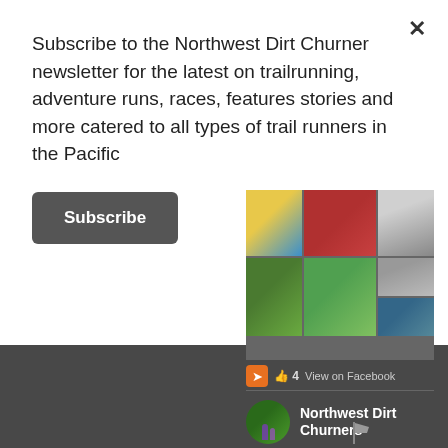Subscribe to the Northwest Dirt Churner newsletter for the latest on trailrunning, adventure runs, races, features stories and more catered to all types of trail runners in the Pacific
Subscribe
[Figure (photo): Photo collage of trail running and outdoor scenes]
4   View on Facebook
Northwest Dirt Churners
Frog Lake, Mt Hood National Forest